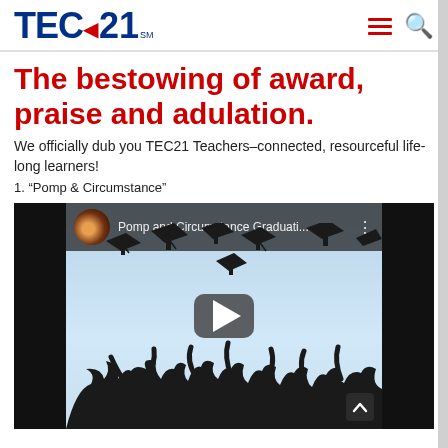TEC·21
The bestowing of award, praise and adulation.
We officially dub you TEC21 Teachers–connected, resourceful life-long learners!
1. “Pomp & Circumstance”
[Figure (screenshot): YouTube video thumbnail showing silhouettes of graduates tossing mortarboard caps in the air against a blue sky, with a play button overlay. Video title: 'Pomp and Circumstance Graduati...']